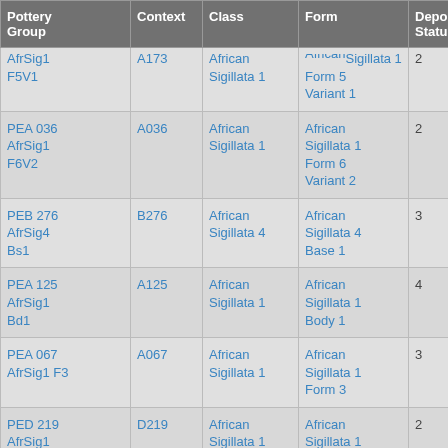| Pottery Group | Context | Class | Form | Depos Status | R Ct | R EVP |
| --- | --- | --- | --- | --- | --- | --- |
| AfrSig1 F5V1 | A173 | African Sigillata 1 | Sigillata 1 Form 5 Variant 1 | 2 |  |  |
| PEA 036 AfrSig1 F6V2 | A036 | African Sigillata 1 | African Sigillata 1 Form 6 Variant 2 | 2 | 2 | 2 |
| PEB 276 AfrSig4 Bs1 | B276 | African Sigillata 4 | African Sigillata 4 Base 1 | 3 |  |  |
| PEA 125 AfrSig1 Bd1 | A125 | African Sigillata 1 | African Sigillata 1 Body 1 | 4 |  |  |
| PEA 067 AfrSig1 F3 | A067 | African Sigillata 1 | African Sigillata 1 Form 3 | 3 | 1 | 1 |
| PED 219 AfrSig1 F15 | D219 | African Sigillata 1 | African Sigillata 1 Form 15 | 2 | 1 | 1 |